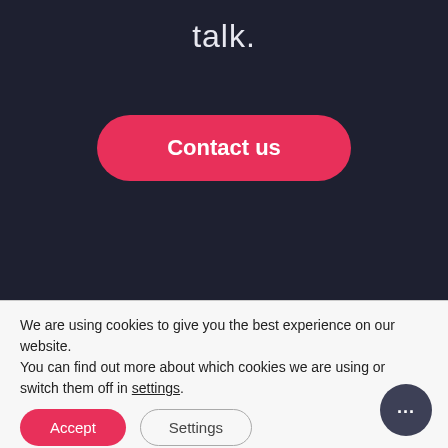talk.
[Figure (other): Pink rounded 'Contact us' button on dark background]
We are using cookies to give you the best experience on our website.
You can find out more about which cookies we are using or switch them off in settings.
[Figure (other): Accept button (pink rounded) and Settings button (outlined rounded) for cookie consent]
[Figure (other): Chat bubble icon button (dark circle with ellipsis) in bottom right corner]